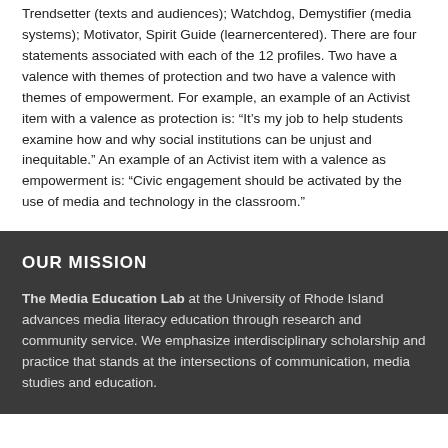Trendsetter (texts and audiences); Watchdog, Demystifier (media systems); Motivator, Spirit Guide (learnercentered). There are four statements associated with each of the 12 profiles. Two have a valence with themes of protection and two have a valence with themes of empowerment. For example, an example of an Activist item with a valence as protection is: “It’s my job to help students examine how and why social institutions can be unjust and inequitable.” An example of an Activist item with a valence as empowerment is: “Civic engagement should be activated by the use of media and technology in the classroom.”
OUR MISSION
The Media Education Lab at the University of Rhode Island advances media literacy education through research and community service. We emphasize interdisciplinary scholarship and practice that stands at the intersections of communication, media studies and education.